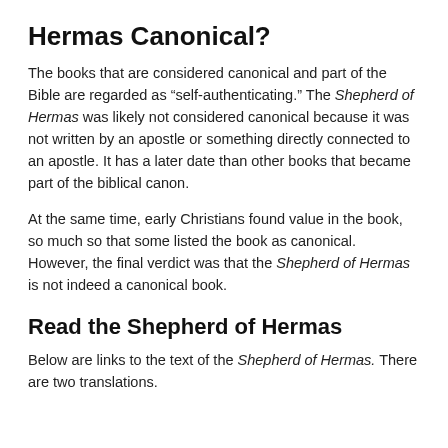Hermas Canonical?
The books that are considered canonical and part of the Bible are regarded as “self-authenticating.” The Shepherd of Hermas was likely not considered canonical because it was not written by an apostle or something directly connected to an apostle. It has a later date than other books that became part of the biblical canon.
At the same time, early Christians found value in the book, so much so that some listed the book as canonical. However, the final verdict was that the Shepherd of Hermas is not indeed a canonical book.
Read the Shepherd of Hermas
Below are links to the text of the Shepherd of Hermas. There are two translations.